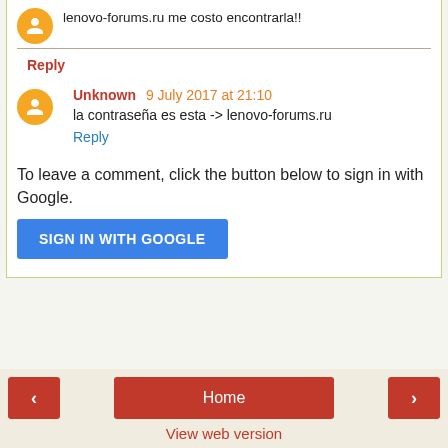lenovo-forums.ru me costo encontrarla!!
Reply
Unknown 9 July 2017 at 21:10
la contraseña es esta -> lenovo-forums.ru
Reply
To leave a comment, click the button below to sign in with Google.
SIGN IN WITH GOOGLE
< Home > View web version